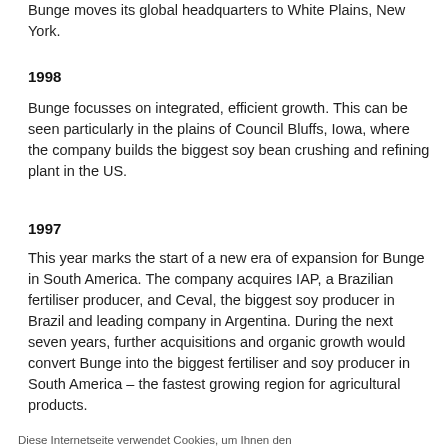Bunge moves its global headquarters to White Plains, New York.
1998
Bunge focusses on integrated, efficient growth. This can be seen particularly in the plains of Council Bluffs, Iowa, where the company builds the biggest soy bean crushing and refining plant in the US.
1997
This year marks the start of a new era of expansion for Bunge in South America. The company acquires IAP, a Brazilian fertiliser producer, and Ceval, the biggest soy producer in Brazil and leading company in Argentina. During the next seven years, further acquisitions and organic growth would convert Bunge into the biggest fertiliser and soy producer in South America – the fastest growing region for agricultural products.
Diese Internetseite verwendet Cookies, um Ihnen den